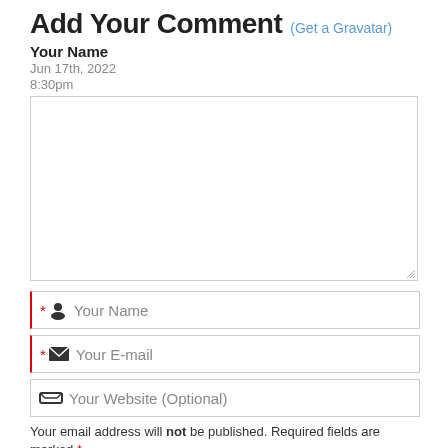Add Your Comment (Get a Gravatar)
Your Name
Jun 17th, 2022
8:30pm
[Figure (other): Comment text area input box with resize handle in bottom-right corner]
* [person icon] Your Name [input field]
* [email icon] Your E-mail [input field]
[website icon] Your Website (Optional) [input field]
Your email address will not be published. Required fields are marked *